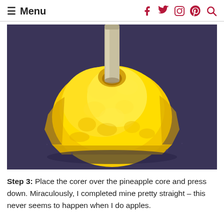≡ Menu
[Figure (photo): Close-up photo of a peeled pineapple chunk on a dark blue/purple surface, with a metal pineapple corer tool being pressed into the core at the top.]
Step 3: Place the corer over the pineapple core and press down. Miraculously, I completed mine pretty straight – this never seems to happen when I do apples.